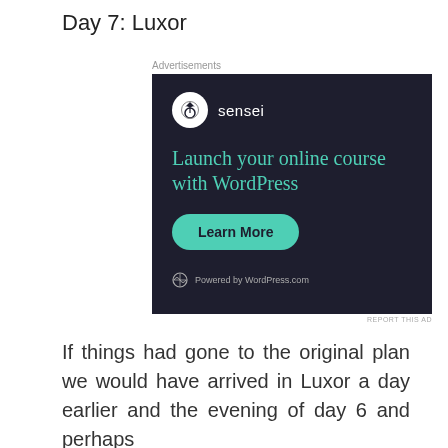Day 7: Luxor
[Figure (screenshot): Advertisement for Sensei plugin: dark navy background with Sensei logo (white circle with tree icon), text 'Launch your online course with WordPress' in teal, a teal 'Learn More' button, and 'Powered by WordPress.com' footer. Label above reads 'Advertisements'.]
If things had gone to the original plan we would have arrived in Luxor a day earlier and the evening of day 6 and perhaps